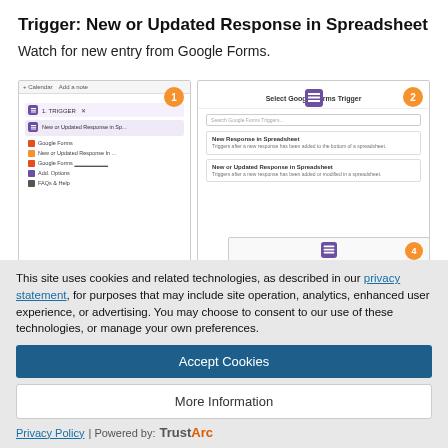Trigger: New or Updated Response in Spreadsheet
Watch for new entry from Google Forms.
[Figure (screenshot): Two-panel screenshot showing Google Forms trigger selection UI. Left panel shows a workflow step selector with 'New or Updated Response in Sp...' selected and Google Forms listed. Right panel shows 'Select Google Forms Trigger' dialog with search field and two options: 'New Response in Spreadsheet' and 'New or Updated Response in Spreadsheet'. Both panels have orange numbered badges (1 and 2).]
This site uses cookies and related technologies, as described in our privacy statement, for purposes that may include site operation, analytics, enhanced user experience, or advertising. You may choose to consent to our use of these technologies, or manage your own preferences.
Accept Cookies
More Information
Privacy Policy | Powered by: TrustArc